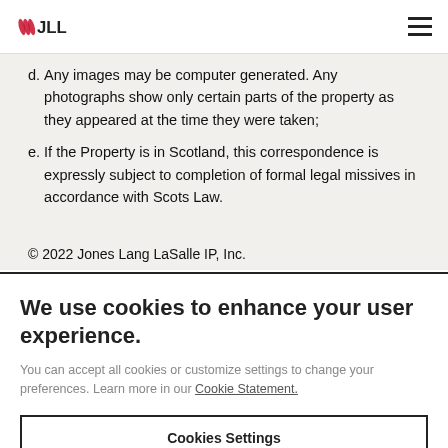JLL
d. Any images may be computer generated. Any photographs show only certain parts of the property as they appeared at the time they were taken;
e. If the Property is in Scotland, this correspondence is expressly subject to completion of formal legal missives in accordance with Scots Law.
© 2022 Jones Lang LaSalle IP, Inc.
We use cookies to enhance your user experience.
You can accept all cookies or customize settings to change your preferences. Learn more in our Cookie Statement.
Cookies Settings
Accept All Cookies